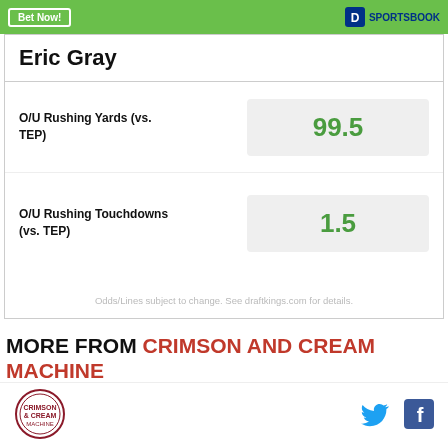Bet Now! | DraftKings Sportsbook
Eric Gray
O/U Rushing Yards (vs. TEP) — 99.5
O/U Rushing Touchdowns (vs. TEP) — 1.5
Odds/Lines subject to change. See draftkings.com for details.
MORE FROM CRIMSON AND CREAM MACHINE
[Figure (logo): Crimson and Cream Machine circular logo]
[Figure (logo): Twitter bird icon]
[Figure (logo): Facebook f icon]